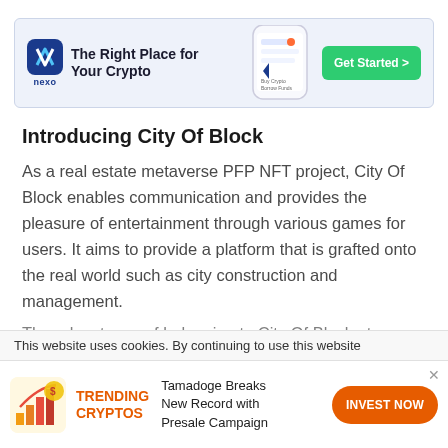[Figure (other): Nexo banner advertisement: logo on left, tagline 'The Right Place for Your Crypto', phone screenshot in center, green 'Get Started >' button on right]
Introducing City Of Block
As a real estate metaverse PFP NFT project, City Of Block enables communication and provides the pleasure of entertainment through various games for users. It aims to provide a platform that is grafted onto the real world such as city construction and management.
The advantages of belonging to City Of Block at...
This website uses cookies. By continuing to use this website
[Figure (other): Bottom trending crypto ad: Tamadoge icon, 'TRENDING CRYPTOS' label in orange, 'Tamadoge Breaks New Record with Presale Campaign' text, orange 'INVEST NOW' button]